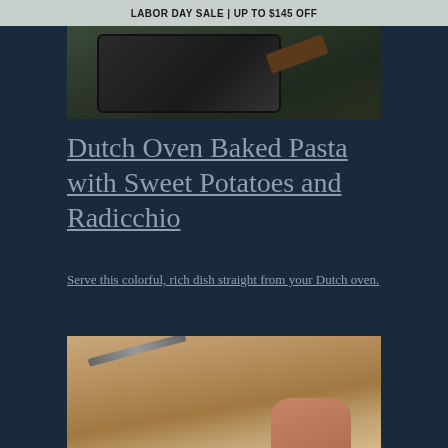LABOR DAY SALE | UP TO $145 OFF
[Figure (photo): Overhead view of a Dutch oven with baked pasta, a wooden spoon resting on the side]
Dutch Oven Baked Pasta with Sweet Potatoes and Radicchio
Serve this colorful, rich dish straight from your Dutch oven.
[Figure (photo): Hands chopping or preparing ingredients on a floured wooden cutting board]